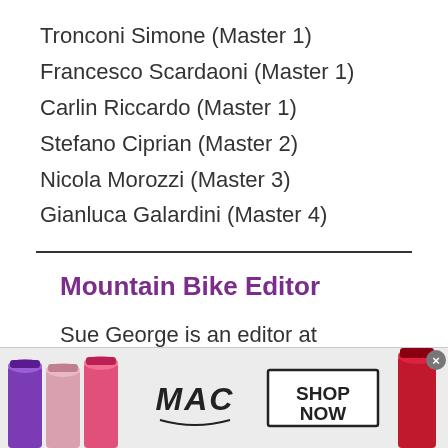Tronconi Simone (Master 1)
Francesco Scardaoni (Master 1)
Carlin Riccardo (Master 1)
Stefano Ciprian (Master 2)
Nicola Morozzi (Master 3)
Gianluca Galardini (Master 4)
Mountain Bike Editor
Sue George is an editor at Cyclingnews.  She coordinates all of the site's mountain bike race coverage and assists with the road, 'cross and
[Figure (photo): MAC cosmetics advertisement banner showing lipsticks in purple, pink, and red colors, MAC logo, and SHOP NOW button]